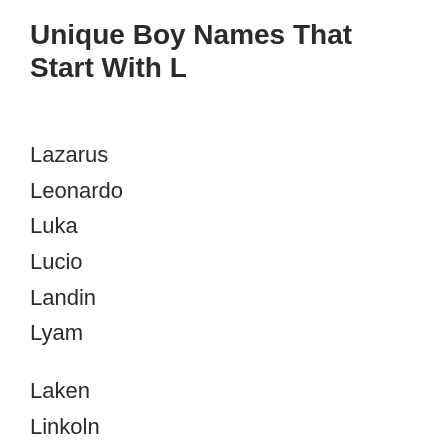Unique Boy Names That Start With L
Lazarus
Leonardo
Luka
Lucio
Landin
Lyam
Laken
Linkoln
Legend
Linkin